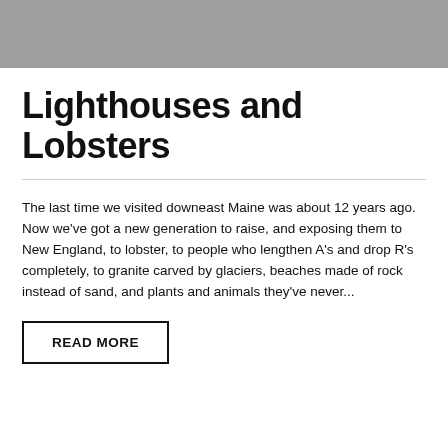[Figure (photo): Gray rectangular image placeholder at the top of the page]
Lighthouses and Lobsters
The last time we visited downeast Maine was about 12 years ago. Now we've got a new generation to raise, and exposing them to New England, to lobster, to people who lengthen A's and drop R's completely, to granite carved by glaciers, beaches made of rock instead of sand, and plants and animals they've never...
READ MORE